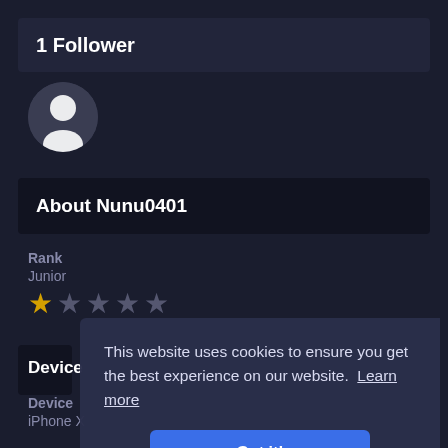1 Follower
[Figure (illustration): Default user avatar icon — white silhouette on dark circular background]
About Nunu0401
Rank
Junior
[Figure (illustration): Star rating: 1 gold star and 4 grey stars]
Device
Device
iPhone X
This website uses cookies to ensure you get the best experience on our website.  Learn more
Got it!